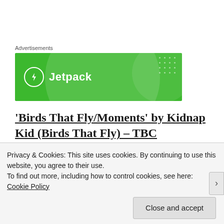Advertisements
[Figure (logo): Jetpack advertisement banner — green background with Jetpack logo (lightning bolt in circle) and 'Jetpack' text in white]
‘Birds That Fly/Moments’ by Kidnap Kid (Birds That Fly) – TBC FAVOURITE ***
https://soundcloud.com/kidnap_kid/sets/mome...
Privacy & Cookies: This site uses cookies. By continuing to use this website, you agree to their use.
To find out more, including how to control cookies, see here: Cookie Policy
Close and accept